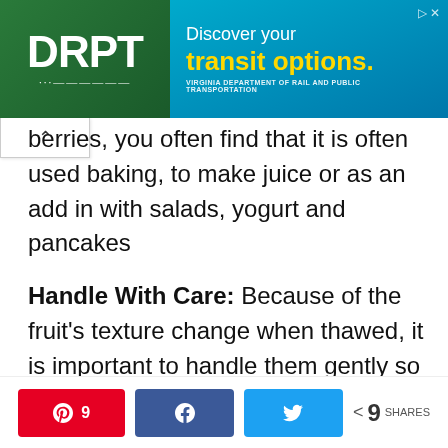[Figure (other): DRPT (Virginia Department of Rail and Public Transportation) advertisement banner with green left panel showing DRPT logo and blue-gradient right panel with text 'Discover your transit options.']
berries, you often find that it is often used baking, to make juice or as an add in with salads, yogurt and pancakes
Handle With Care: Because of the fruit's texture change when thawed, it is important to handle them gently so as and to help them keep their shape.
[Figure (other): Social share bar with Pinterest button (9), Facebook share button, Twitter tweet button, and a share count showing 9 SHARES]